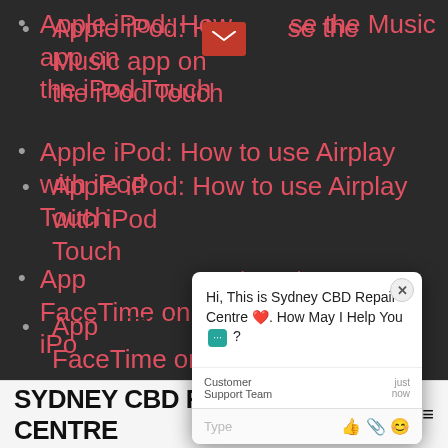Apple iPod: How to use the Music app on the iPod Touch
Apple iPod: How to use Airplay with iPod Touch
Apple iPod: How to set up FaceTime on iPod
Apple iPod: How to add music to your iPod
[Figure (screenshot): Chat popup widget from Sydney CBD Repair Centre with message: Hi, This is Sydney CBD Repair Centre. How May I Help You? With Customer Support Team online indicator.]
SYDNEY CBD REPAIR CENTRE  MENU ≡